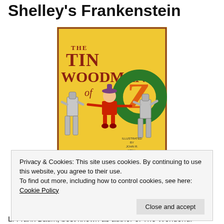Shelley's Frankenstein
[Figure (illustration): Book cover of 'The Tin Woodman of Oz' illustrated by John R. Neill, featuring a girl in red sitting on two tin men on a yellow background with large green and orange 'Oz' lettering]
Privacy & Cookies: This site uses cookies. By continuing to use this website, you agree to their use.
To find out more, including how to control cookies, see here: Cookie Policy
L. Frank Baum, best known as author of The Wonderful